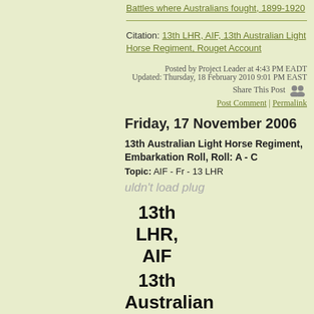Battles where Australians fought, 1899-1920
Citation: 13th LHR, AIF, 13th Australian Light Horse Regiment, Rouget Account
Posted by Project Leader at 4:43 PM EADT
Updated: Thursday, 18 February 2010 9:01 PM EAST
Share This Post
Post Comment | Permalink
Friday, 17 November 2006
13th Australian Light Horse Regiment, Embarkation Roll, Roll: A - C
Topic: AIF - Fr - 13 LHR
uldn't load plug
13th LHR, AIF
13th Australian Light Horse Regiment
Embarkation Roll: A - C
The following is a composite alphabetical roll of